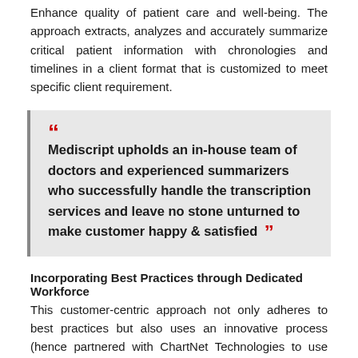Enhance quality of patient care and well-being. The approach extracts, analyzes and accurately summarize critical patient information with chronologies and timelines in a client format that is customized to meet specific client requirement.
“Mediscript upholds an in-house team of doctors and experienced summarizers who successfully handle the transcription services and leave no stone unturned to make customer happy & satisfied”
Incorporating Best Practices through Dedicated Workforce
This customer-centric approach not only adheres to best practices but also uses an innovative process (hence partnered with ChartNet Technologies to use their HIPPA compliant platform) for the transcription of the clinical documents and performs multi-level quality checks to acquire 100 percent error-free documents. It enables the delivery of